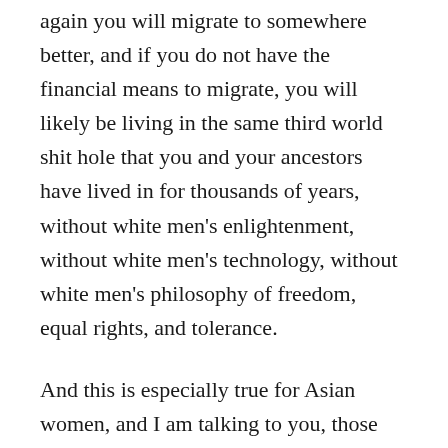again you will migrate to somewhere better, and if you do not have the financial means to migrate, you will likely be living in the same third world shit hole that you and your ancestors have lived in for thousands of years, without white men's enlightenment, without white men's technology, without white men's philosophy of freedom, equal rights, and tolerance.
And this is especially true for Asian women, and I am talking to you, those Asian women who are married to white men but are champions of the far left social justice ideology. You love white men, yet you are upholding an ideology that is anathema to the well being of white men, and by constantly attacking white men, smearing the good name of white men, you are doing harm...